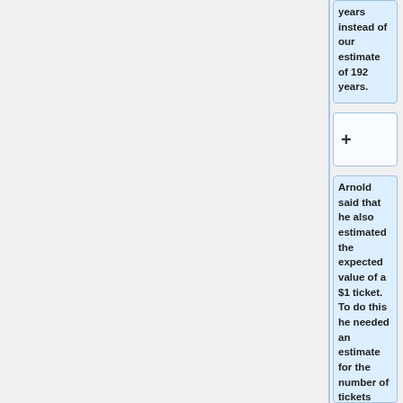years instead of our estimate of 192 years.
+
Arnold said that he also estimated the expected value of a $1 ticket.  To do this he needed an estimate for the number of tickets sold.  He was told that a reasonable estimate was 106 million.   In calculating the expected value of a $1 ticket he used the cash